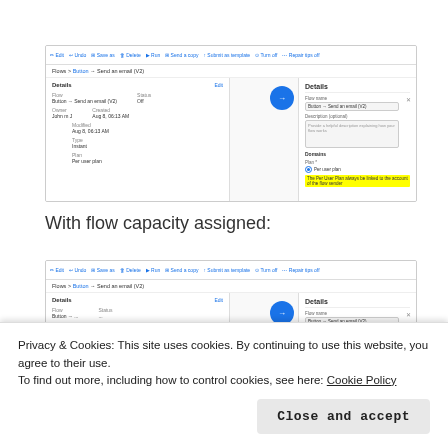[Figure (screenshot): Screenshot of a flow editor showing details panel with 'Details' section open and a right-side panel showing 'Details' with fields for Flow name, Description, Domains and Plan. A yellow highlighted warning text is visible in the Plan section.]
With flow capacity assigned:
[Figure (screenshot): Second screenshot of the same flow editor interface partially visible, showing Button → Send an email flow with Details panel and right-side Details panel.]
Privacy & Cookies: This site uses cookies. By continuing to use this website, you agree to their use.
To find out more, including how to control cookies, see here: Cookie Policy
Close and accept